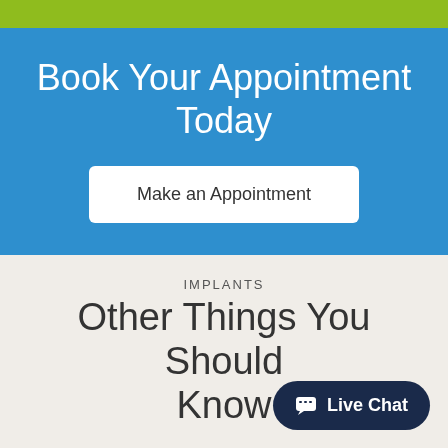Book Your Appointment Today
Make an Appointment
IMPLANTS
Other Things You Should Know
Are You a Candidate for Dental Implants? With the exception of growing children, dental implants are
Live Chat